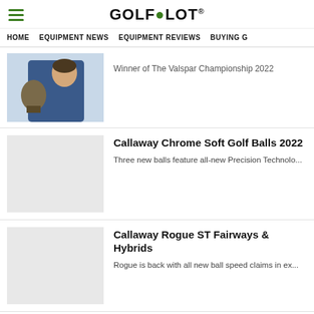GOLFALOT
HOME  EQUIPMENT NEWS  EQUIPMENT REVIEWS  BUYING G
Winner of The Valspar Championship 2022
Callaway Chrome Soft Golf Balls 2022
Three new balls feature all-new Precision Technolo...
Callaway Rogue ST Fairways & Hybrids
Rogue is back with all new ball speed claims in ex...